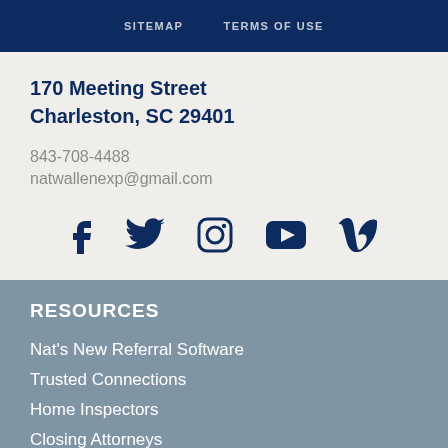SITEMAP   TERMS OF USE
170 Meeting Street
Charleston, SC 29401
843-708-4488
natwallenexp@gmail.com
[Figure (infographic): Social media icons: Facebook, Twitter, Instagram, YouTube, Vimeo]
RESOURCES
Nat's New Referral Software
Trusted Connections
Home Inspectors
Closing Attorneys